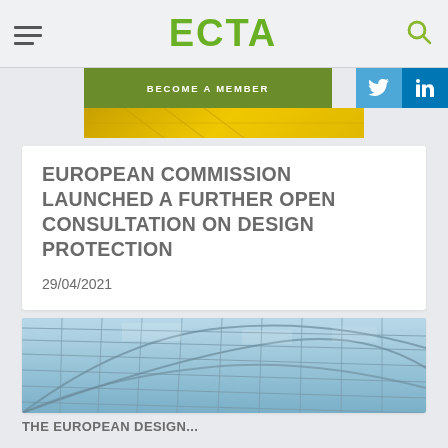ECTA
BECOME A MEMBER
EUROPEAN COMMISSION LAUNCHED A FURTHER OPEN CONSULTATION ON DESIGN PROTECTION
29/04/2021
[Figure (photo): Glass ceiling architectural photo with grid pattern and blue sky]
THE EUROPEAN DESIGN ...